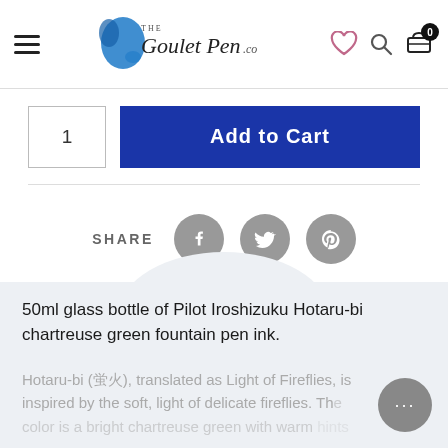The Goulet Pen Co. — navigation header with hamburger menu, logo, wishlist, search, and cart icons
[Figure (screenshot): Add to Cart button section with quantity box showing '1' and a blue 'Add to Cart' button]
[Figure (infographic): SHARE section with Facebook, Twitter, and Pinterest circular icon buttons]
50ml glass bottle of Pilot Iroshizuku Hotaru-bi chartreuse green fountain pen ink.
Hotaru-bi (蛍火), translated as Light of Fireflies, is inspired by the soft, light of delicate fireflies. The color is a bright chartreuse green with warm hints.